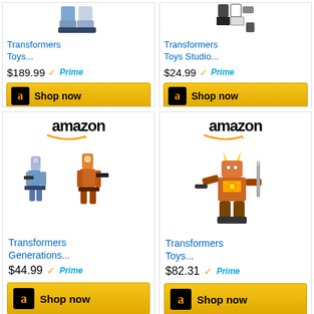[Figure (screenshot): Amazon product listing for Transformers Toys (partial top), price $189.99 with Prime badge and Shop now button]
[Figure (screenshot): Amazon product listing for Transformers Toys Studio (partial top), price $24.99 with Prime badge and Shop now button]
[Figure (screenshot): Amazon product listing for Transformers Generations, price $44.99 with Prime badge and Shop now button, showing two robot action figures]
[Figure (screenshot): Amazon product listing for Transformers Toys, price $82.31 with Prime badge and Shop now button, showing orange robot action figure]
[Figure (screenshot): Amazon product listing (partial bottom), showing Amazon logo]
[Figure (screenshot): Amazon product listing (partial bottom), showing Amazon logo and purple/yellow transformer toy]